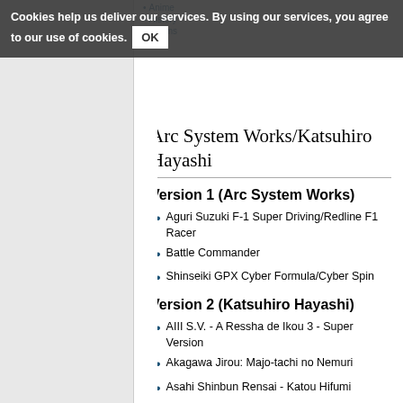Cookies help us deliver our services. By using our services, you agree to our use of cookies. OK
Arc System Works/Katsuhiro Hayashi
Version 1 (Arc System Works)
Aguri Suzuki F-1 Super Driving/Redline F1 Racer
Battle Commander
Shinseiki GPX Cyber Formula/Cyber Spin
Version 2 (Katsuhiro Hayashi)
AIII S.V. - A Ressha de Ikou 3 - Super Version
Akagawa Jirou: Majo-tachi no Nemuri
Asahi Shinbun Rensai - Katou Hifumi